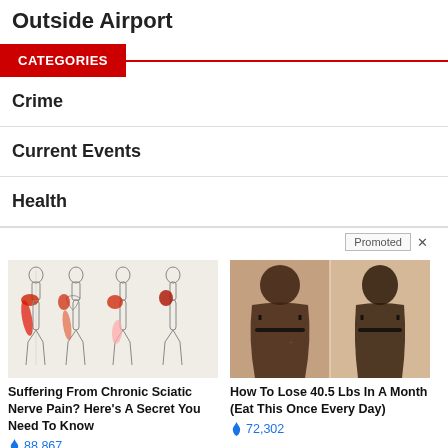Outside Airport
CATEGORIES
Crime
Current Events
Health
[Figure (photo): Medical illustration showing sciatic nerve pain areas on human body figures]
Suffering From Chronic Sciatic Nerve Pain? Here's A Secret You Need To Know
🔥 88,867
[Figure (photo): Before and after weight loss photo of woman's back]
How To Lose 40.5 Lbs In A Month (Eat This Once Every Day)
🔥 72,302